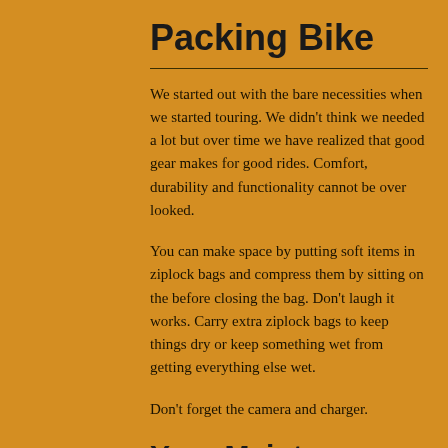Packing Bike
We started out with the bare necessities when we started touring. We didn't think we needed a lot but over time we have realized that good gear makes for good rides. Comfort, durability and functionality cannot be over looked.
You can make space by putting soft items in ziplock bags and compress them by sitting on the before closing the bag. Don't laugh it works. Carry extra ziplock bags to keep things dry or keep something wet from getting everything else wet.
Don't forget the camera and charger.
Your Maintenance